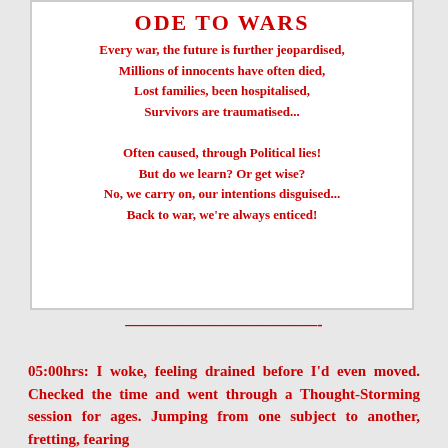ODE TO WARS
Every war, the future is further jeopardised,
Millions of innocents have often died,
Lost families, been hospitalised,
Survivors are traumatised...

Often caused, through Political lies!
But do we learn? Or get wise?
No, we carry on, our intentions disguised...
Back to war, we're always enticed!
05:00hrs: I woke, feeling drained before I'd even moved. Checked the time and went through a Thought-Storming session for ages. Jumping from one subject to another, fretting, fearing